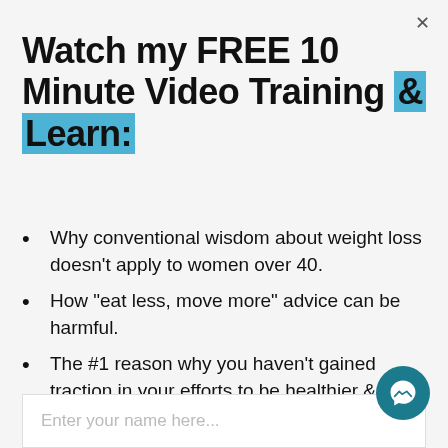Watch my FREE 10 Minute Video Training & Learn:
Why conventional wisdom about weight loss doesn't apply to women over 40.
How "eat less, move more" advice can be harmful.
The #1 reason why you haven't gained traction in your efforts to be healthier & lose weight.
Enter your name here...